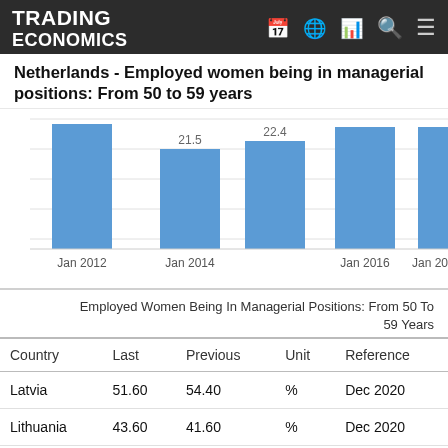TRADING ECONOMICS
Netherlands - Employed women being in managerial positions: From 50 to 59 years
[Figure (bar-chart): Netherlands - Employed women being in managerial positions: From 50 to 59 years]
Employed Women Being In Managerial Positions: From 50 To 59 Years
| Country | Last | Previous | Unit | Reference |
| --- | --- | --- | --- | --- |
| Latvia | 51.60 | 54.40 | % | Dec 2020 |
| Lithuania | 43.60 | 41.60 | % | Dec 2020 |
| Poland | 43.40 | 43.60 | % | Dec 2020 |